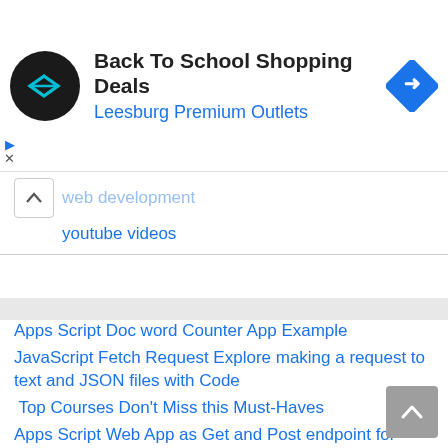[Figure (other): Advertisement banner: Back To School Shopping Deals at Leesburg Premium Outlets with logo and direction icon]
web development
youtube videos
Apps Script Doc word Counter App Example
JavaScript Fetch Request Explore making a request to text and JSON files with Code
Top Courses Don't Miss this Must-Haves
Apps Script Web App as Get and Post endpoint for JavaScript Google Apps Script Coding Example